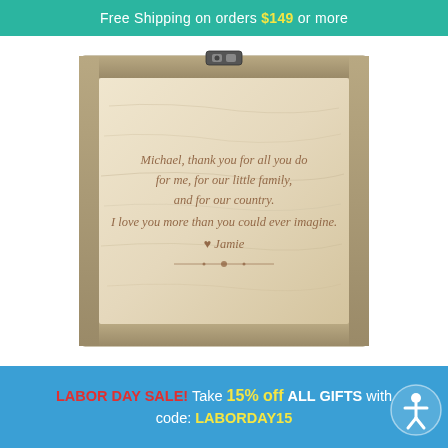Free Shipping on orders $149 or more
[Figure (photo): An open wooden keepsake box with a metal latch at the top, showing the inside of the lid which has a personalized laser-engraved message in cursive script: 'Michael, thank you for all you do for me, for our little family, and for our country. I love you more than you could ever imagine. ♥ Jamie' with a decorative divider below the text.]
LABOR DAY SALE! Take 15% off ALL GIFTS with code: LABORDAY15